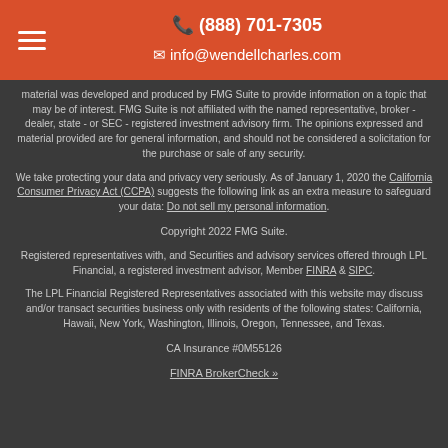(888) 701-7305  info@wendellcharles.com
material was developed and produced by FMG Suite to provide information on a topic that may be of interest. FMG Suite is not affiliated with the named representative, broker - dealer, state - or SEC - registered investment advisory firm. The opinions expressed and material provided are for general information, and should not be considered a solicitation for the purchase or sale of any security.
We take protecting your data and privacy very seriously. As of January 1, 2020 the California Consumer Privacy Act (CCPA) suggests the following link as an extra measure to safeguard your data: Do not sell my personal information.
Copyright 2022 FMG Suite.
Registered representatives with, and Securities and advisory services offered through LPL Financial, a registered investment advisor, Member FINRA & SIPC.
The LPL Financial Registered Representatives associated with this website may discuss and/or transact securities business only with residents of the following states: California, Hawaii, New York, Washington, Illinois, Oregon, Tennessee, and Texas.
CA Insurance #0M55126
FINRA BrokerCheck »